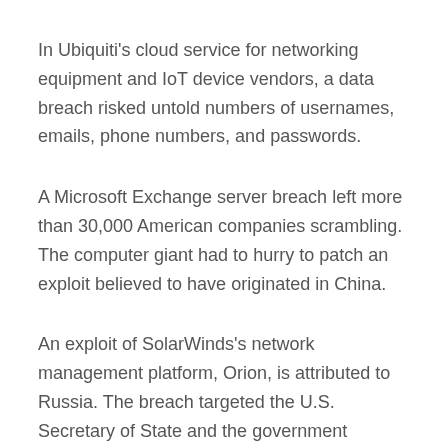In Ubiquiti's cloud service for networking equipment and IoT device vendors, a data breach risked untold numbers of usernames, emails, phone numbers, and passwords.
A Microsoft Exchange server breach left more than 30,000 American companies scrambling. The computer giant had to hurry to patch an exploit believed to have originated in China.
An exploit of SolarWinds's network management platform, Orion, is attributed to Russia. The breach targeted the U.S. Secretary of State and the government departments of Homeland Security and Commerce, plus the Treasury, Microsoft, Intel, Cisco, and Deloitte were